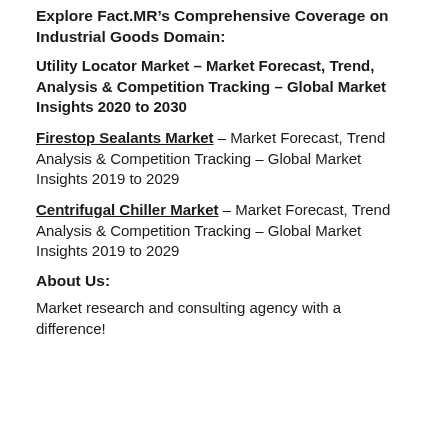Explore Fact.MR’s Comprehensive Coverage on Industrial Goods Domain:
Utility Locator Market – Market Forecast, Trend, Analysis & Competition Tracking – Global Market Insights 2020 to 2030
Firestop Sealants Market – Market Forecast, Trend Analysis & Competition Tracking – Global Market Insights 2019 to 2029
Centrifugal Chiller Market – Market Forecast, Trend Analysis & Competition Tracking – Global Market Insights 2019 to 2029
About Us:
Market research and consulting agency with a difference!